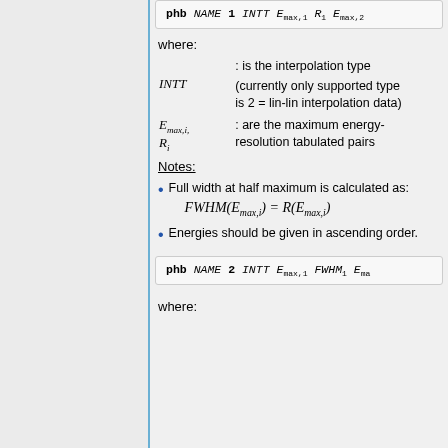phb NAME 1 INTT E_max,1 R_1 E_max,2 ...
where:
INTT : is the interpolation type (currently only supported type is 2 = lin-lin interpolation data)
E_max,i, R_i : are the maximum energy-resolution tabulated pairs
Notes:
Full width at half maximum is calculated as: FWHM(E_max,i) = R(E_max,i)
Energies should be given in ascending order.
phb NAME 2 INTT E_max,1 FWHM_1 E_ma...
where: